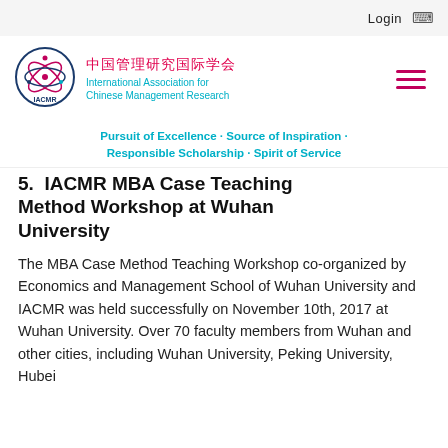Login
[Figure (logo): IACMR logo circle with Chinese characters and English text: International Association for Chinese Management Research]
中国管理研究国际学会
International Association for
Chinese Management Research
Pursuit of Excellence · Source of Inspiration · Responsible Scholarship · Spirit of Service
IACMR MBA Case Teaching Method Workshop at Wuhan University
The MBA Case Method Teaching Workshop co-organized by Economics and Management School of Wuhan University and IACMR was held successfully on November 10th, 2017 at Wuhan University. Over 70 faculty members from Wuhan and other cities, including Wuhan University, Peking University, Hubei